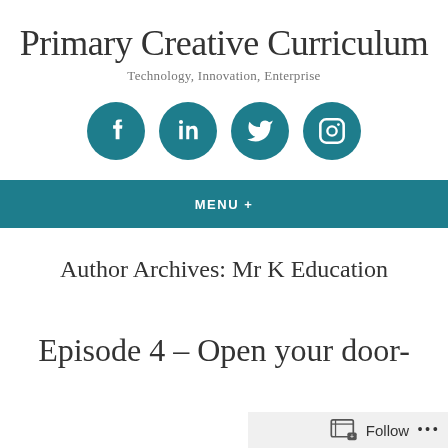Primary Creative Curriculum
Technology, Innovation, Enterprise
[Figure (illustration): Four teal circular social media icons in a row: Facebook, LinkedIn, Twitter, Instagram]
MENU +
Author Archives: Mr K Education
Episode 4 – Open your door-
Follow ...